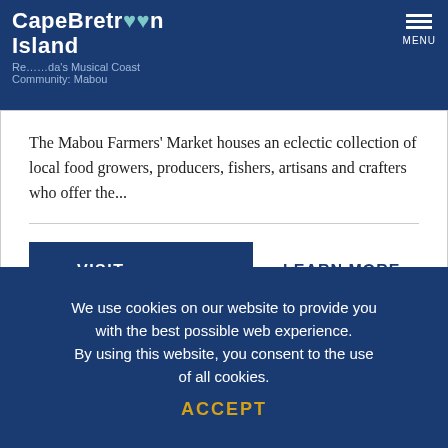Cape Breton Island — Re...da's Musical Coast — Community: Mabou
The Mabou Farmers' Market houses an eclectic collection of local food growers, producers, fishers, artisans and crafters who offer the...
VISIT WEBSITE
LEARN MORE →
We use cookies on our website to provide you with the best possible web experience. By using this website, you consent to the use of all cookies.
ACCEPT